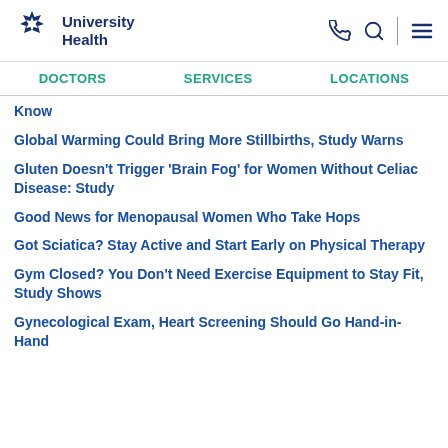University Health
Know
Global Warming Could Bring More Stillbirths, Study Warns
Gluten Doesn't Trigger 'Brain Fog' for Women Without Celiac Disease: Study
Good News for Menopausal Women Who Take Hops
Got Sciatica? Stay Active and Start Early on Physical Therapy
Gym Closed? You Don't Need Exercise Equipment to Stay Fit, Study Shows
Gynecological Exam, Heart Screening Should Go Hand-in-Hand